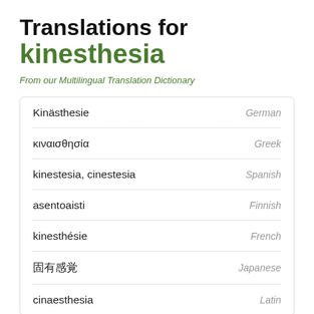Translations for kinesthesia
From our Multilingual Translation Dictionary
| Translation | Language |
| --- | --- |
| Kinästhesie | German |
| κιναισθησία | Greek |
| kinestesia, cinestesia | Spanish |
| asentoaisti | Finnish |
| kinesthésie | French |
| 固有感覚 | Japanese |
| cinaesthesia | Latin |